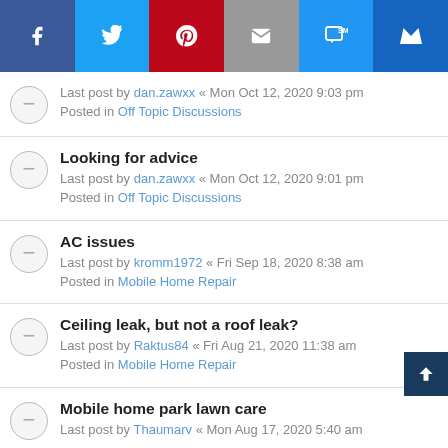[Figure (screenshot): Social sharing bar with Facebook, Twitter, Pinterest, Email, SMS, and Crown/bookmark icons]
Last post by dan.zawxx « Mon Oct 12, 2020 9:03 pm
Posted in Off Topic Discussions
Looking for advice
Last post by dan.zawxx « Mon Oct 12, 2020 9:01 pm
Posted in Off Topic Discussions
AC issues
Last post by kromm1972 « Fri Sep 18, 2020 8:38 am
Posted in Mobile Home Repair
Ceiling leak, but not a roof leak?
Last post by Raktus84 « Fri Aug 21, 2020 11:38 am
Posted in Mobile Home Repair
Mobile home park lawn care
Last post by Thaumarv « Mon Aug 17, 2020 5:40 am